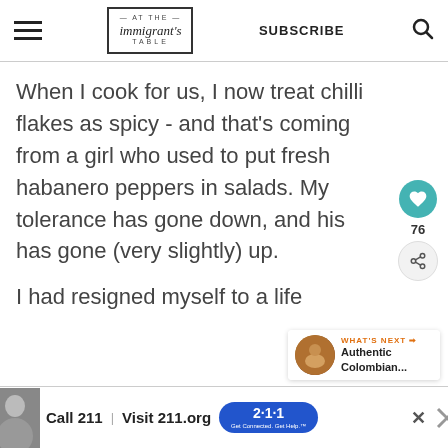At The Immigrant's Table — SUBSCRIBE
When I cook for us, I now treat chilli flakes as spicy - and that's coming from a girl who used to put fresh habanero peppers in salads. My tolerance has gone down, and his has gone (very slightly) up.
I had resigned myself to a life
[Figure (other): What's Next promo thumbnail for Authentic Colombian...]
[Figure (other): Advertisement banner: Call 211 | Visit 211.org with 2-1-1 badge logo]